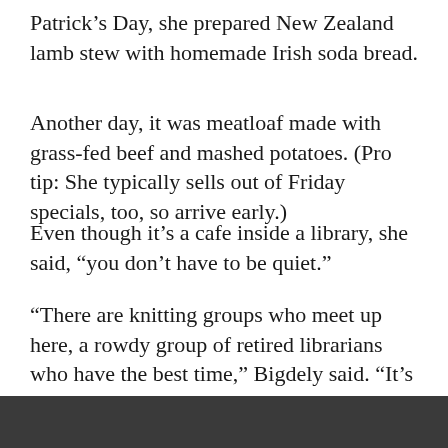Patrick's Day, she prepared New Zealand lamb stew with homemade Irish soda bread.
Another day, it was meatloaf made with grass-fed beef and mashed potatoes. (Pro tip: She typically sells out of Friday specials, too, so arrive early.)
Even though it’s a cafe inside a library, she said, “you don’t have to be quiet.”
“There are knitting groups who meet up here, a rowdy group of retired librarians who have the best time,” Bigdely said. “It’s not like going to a chain cafe or restaurant. If you want a personal feel, we are quickly becoming known as the cafe where everyone knows your name.”